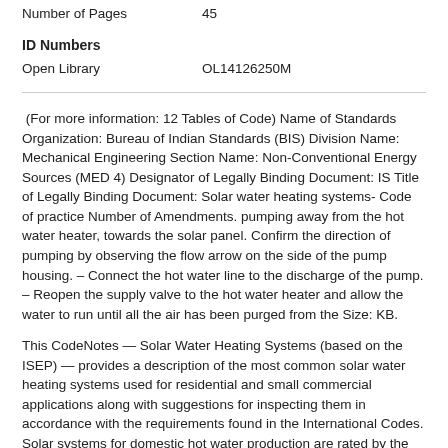Number of Pages    45
ID Numbers
Open Library    OL14126250M
(For more information: 12 Tables of Code) Name of Standards Organization: Bureau of Indian Standards (BIS) Division Name: Mechanical Engineering Section Name: Non-Conventional Energy Sources (MED 4) Designator of Legally Binding Document: IS Title of Legally Binding Document: Solar water heating systems- Code of practice Number of Amendments. pumping away from the hot water heater, towards the solar panel. Confirm the direction of pumping by observing the flow arrow on the side of the pump housing. – Connect the hot water line to the discharge of the pump. – Reopen the supply valve to the hot water heater and allow the water to run until all the air has been purged from the Size: KB.
This CodeNotes — Solar Water Heating Systems (based on the ISEP) — provides a description of the most common solar water heating systems used for residential and small commercial applications along with suggestions for inspecting them in accordance with the requirements found in the International Codes. Solar systems for domestic hot water production are rated by the annual solar energy factor of the system. The solar energy factor of a system shall be determined from the Florida Solar Energy Center Directory of Certified Solar collectors shall be tested in accordance with ISO Standard , Test Methods for Solar Collectors, and SRCC Standard TM-1, Solar